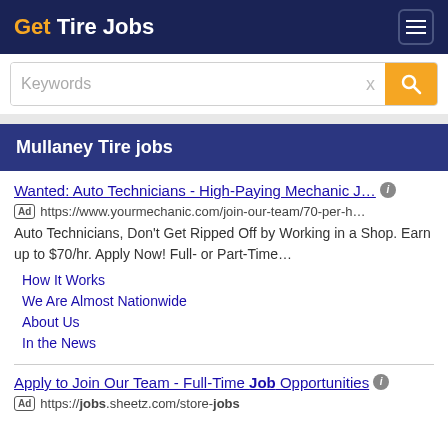Get Tire Jobs
Keywords  x
Mullaney Tire jobs
Wanted: Auto Technicians - High-Paying Mechanic J…
[Ad] https://www.yourmechanic.com/join-our-team/70-per-h…
Auto Technicians, Don't Get Ripped Off by Working in a Shop. Earn up to $70/hr. Apply Now! Full- or Part-Time…
How It Works
We Are Almost Nationwide
About Us
In the News
Apply to Join Our Team - Full-Time Job Opportunities
[Ad] https://jobs.sheetz.com/store-jobs